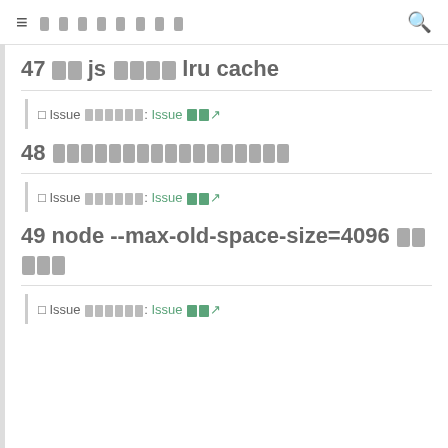≡ [navigation title] [search icon]
47 □□ js □□□□ lru cache
□ Issue □□□□□□: Issue □□↗
48 □□□□□□□□□□□□□□□□□□□□□□□□□□□□□□
□ Issue □□□□□□: Issue □□↗
49 node --max-old-space-size=4096 □□□□□
□ Issue □□□□□□: Issue □□↗